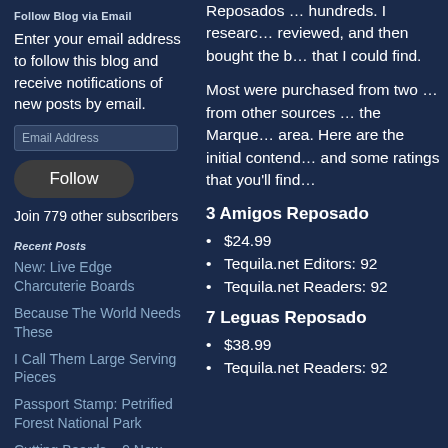Follow Blog via Email
Enter your email address to follow this blog and receive notifications of new posts by email.
Email Address
Follow
Join 779 other subscribers
Recent Posts
New: Live Edge Charcuterie Boards
Because The World Needs These
I Call Them Large Serving Pieces
Passport Stamp: Petrified Forest National Park
Cutting Boards – 9 New Ones
Reposados … hundreds. I researc… reviewed, and then bought the b… that I could find.
Most were purchased from two … from other sources … the Marque… area. Here are the initial contend… and some ratings that you'll find…
3 Amigos Reposado
$24.99
Tequila.net Editors: 92
Tequila.net Readers: 92
7 Leguas Reposado
$38.99
Tequila.net Readers: 92